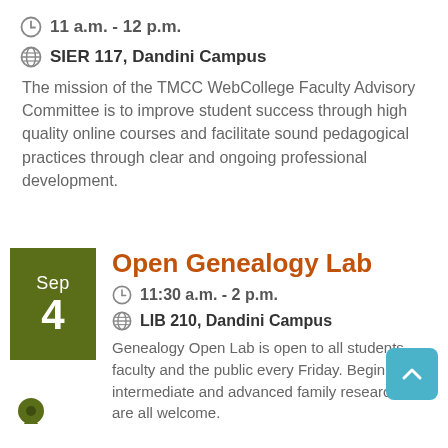11 a.m. - 12 p.m.
SIER 117, Dandini Campus
The mission of the TMCC WebCollege Faculty Advisory Committee is to improve student success through high quality online courses and facilitate sound pedagogical practices through clear and ongoing professional development.
Open Genealogy Lab
11:30 a.m. - 2 p.m.
LIB 210, Dandini Campus
Genealogy Open Lab is open to all students, faculty and the public every Friday. Beginning, intermediate and advanced family researchers are all welcome.